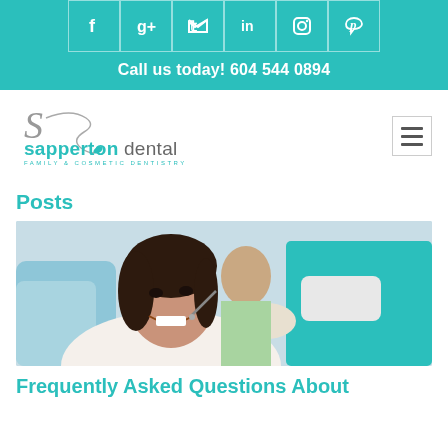[Figure (infographic): Row of social media icons (Facebook, Google+, Twitter, LinkedIn, Instagram, Pinterest) in white on teal background with border cells]
Call us today! 604 544 0894
[Figure (logo): Sapperton Dental logo with stylized S curl and teal text reading 'sapperton dental - Family & Cosmetic Dentistry']
[Figure (other): Hamburger menu icon (three horizontal lines) in a bordered square]
Posts
[Figure (photo): A female patient sitting in a dental chair smiling while a dentist in teal scrubs and mask examines her teeth with a dental tool. A nurse is visible in the background.]
Frequently Asked Questions About